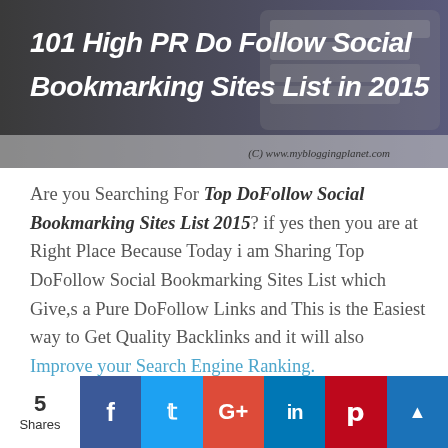[Figure (illustration): Banner image with text '101 High PR Do Follow Social Bookmarking Sites List in 2015' on a dark background with a keyboard image and copyright notice '(C) www.mybloggingplanet.com']
Are you Searching For Top DoFollow Social Bookmarking Sites List 2015? if yes then you are at Right Place Because Today i am Sharing Top DoFollow Social Bookmarking Sites List which Give,s a Pure DoFollow Links and This is the Easiest way to Get Quality Backlinks and it will also Improve your Search Engine Ranking.
[Figure (infographic): Social sharing bar with share count '5 Shares' and icons for Facebook, Twitter, Google+, LinkedIn, Pinterest, and StumbleUpon]